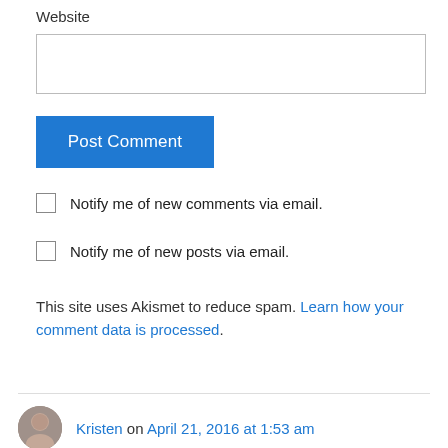Website
Post Comment
Notify me of new comments via email.
Notify me of new posts via email.
This site uses Akismet to reduce spam. Learn how your comment data is processed.
Kristen on April 21, 2016 at 1:53 am
Great reminders, Tami! I like the fish analogy. 🙂 Dr. Morgan's book The Red Sea Rules is an excellent resource for anyone going through